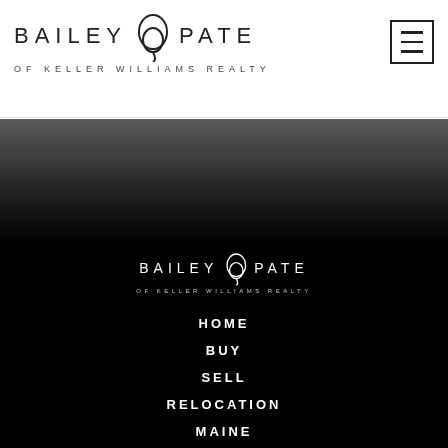[Figure (logo): Bailey Pate of Keller Williams Realty logo in header, dark text on white background]
[Figure (logo): Bailey Pate of Keller Williams Realty logo in navigation overlay, white text on black background]
HOME
BUY
SELL
RELOCATION
MAINE
GIVING
BLOG